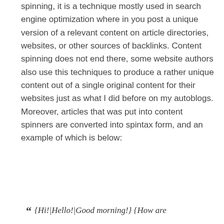spinning, it is a technique mostly used in search engine optimization where in you post a unique version of a relevant content on article directories, websites, or other sources of backlinks. Content spinning does not end there, some website authors also use this techniques to produce a rather unique content out of a single original content for their websites just as what I did before on my autoblogs. Moreover, articles that was put into content spinners are converted into spintax form, and an example of which is below:
" {Hi!|Hello!|Good morning!} {How are